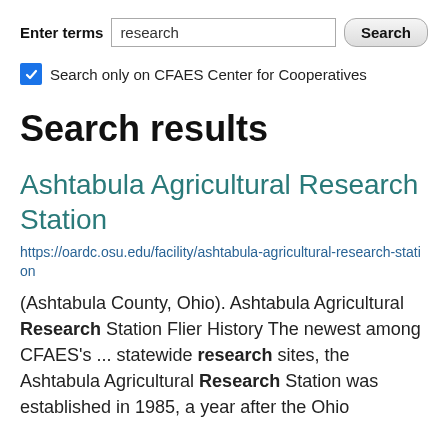Enter terms  research  Search
Search only on CFAES Center for Cooperatives
Search results
Ashtabula Agricultural Research Station
https://oardc.osu.edu/facility/ashtabula-agricultural-research-station
(Ashtabula County, Ohio). Ashtabula Agricultural Research Station Flier History The newest among CFAES's ... statewide research sites, the Ashtabula Agricultural Research Station was established in 1985, a year after the Ohio